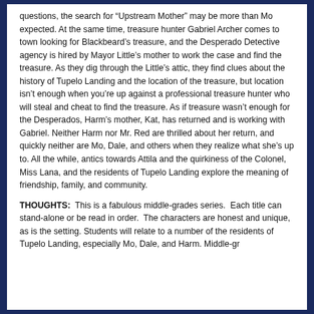questions, the search for “Upstream Mother” may be more than Mo expected. At the same time, treasure hunter Gabriel Archer comes to town looking for Blackbeard’s treasure, and the Desperado Detective agency is hired by Mayor Little’s mother to work the case and find the treasure. As they dig through the Little’s attic, they find clues about the history of Tupelo Landing and the location of the treasure, but location isn’t enough when you’re up against a professional treasure hunter who will steal and cheat to find the treasure. As if treasure wasn’t enough for the Desperados, Harm’s mother, Kat, has returned and is working with Gabriel. Neither Harm nor Mr. Red are thrilled about her return, and quickly neither are Mo, Dale, and others when they realize what she’s up to. All the while, antics towards Attila and the quirkiness of the Colonel, Miss Lana, and the residents of Tupelo Landing explore the meaning of friendship, family, and community.
THOUGHTS: This is a fabulous middle-grades series. Each title can stand-alone or be read in order. The characters are honest and unique, as is the setting. Students will relate to a number of the residents of Tupelo Landing, especially Mo, Dale, and Harm. Middle-grade readers who enjoy...